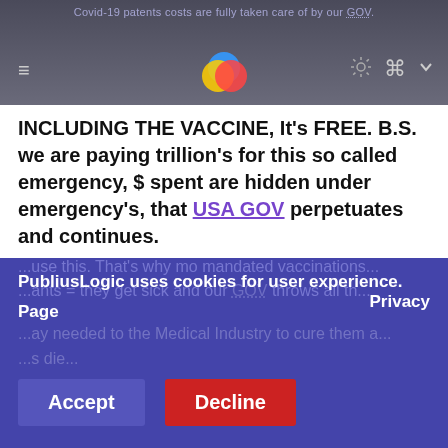Covid-19 patents costs are fully taken care of by our GOV.
INCLUDING THE VACCINE, It's FREE. B.S. we are paying trillion's for this so called emergency, $ spent are hidden under emergency's, that USA GOV perpetuates and continues.
The longer they can continue this the more $$$$ they make, and we are spending the bank on it.
For both American citizens of anyone who needs it, most covid patients in the south are Illegal's' and they want to ...use this. That's why mo mandated vaccinations...ants = they get sick and our GOV throws all the...ay needed to the Medical Industry to cure them a......s die...
PubliusLogic uses cookies for user experience. Privacy Page
Accept | Decline